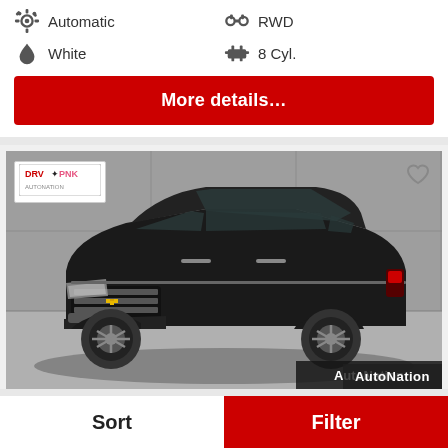Automatic
RWD
White
8 Cyl.
More details…
[Figure (photo): Black Chevrolet Traverse SUV shown from front-left angle in a studio/showroom setting. DRV PNK badge in top-left corner. AutoNation logo in bottom-right corner. Heart/favorite icon in top-right corner.]
Sort
Filter